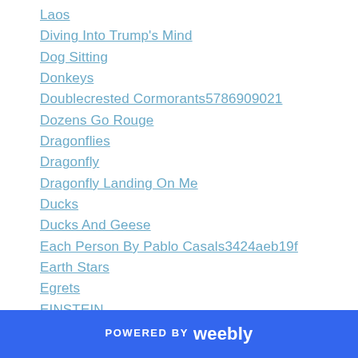Laos
Diving Into Trump's Mind
Dog Sitting
Donkeys
Doublecrested Cormorants5786909021
Dozens Go Rouge
Dragonflies
Dragonfly
Dragonfly Landing On Me
Ducks
Ducks And Geese
Each Person By Pablo Casals3424aeb19f
Earth Stars
Egrets
EINSTEIN
POWERED BY weebly